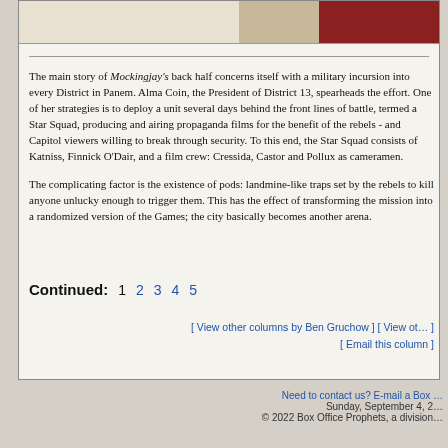[Figure (other): Top banner strip with Council label and red bar graphic]
The main story of Mockingjay's back half concerns itself with a military incursion into every District in Panem. Alma Coin, the President of District 13, spearheads the effort. One of her strategies is to deploy a unit several days behind the front lines of battle, termed a Star Squad, producing and airing propaganda films for the benefit of the rebels - and Capitol viewers willing to break through security. To this end, the Star Squad consists of Katniss, Finnick O'Dair, and a film crew: Cressida, Castor and Pollux as cameramen.
The complicating factor is the existence of pods: landmine-like traps set by the rebels to kill anyone unlucky enough to trigger them. This has the effect of transforming the mission into a randomized version of the Games; the city basically becomes another arena.
Continued: 1  2  3  4  5
[ View other columns by Ben Gruchow ] [ View other columns ]  [ Email this column ]
Need to contact us? E-mail a Box Office Prophets...  Sunday, September 4, 2022  © 2022 Box Office Prophets, a division of...